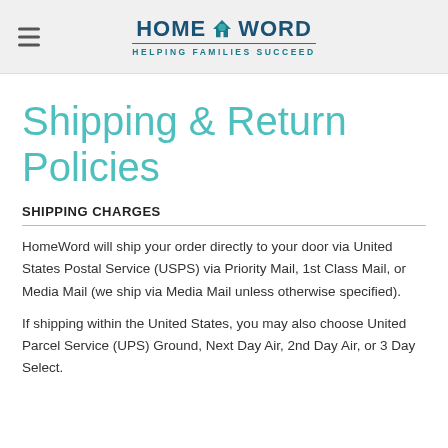HOME WORD — HELPING FAMILIES SUCCEED
Shipping & Return Policies
SHIPPING CHARGES
HomeWord will ship your order directly to your door via United States Postal Service (USPS) via Priority Mail, 1st Class Mail, or Media Mail (we ship via Media Mail unless otherwise specified).
If shipping within the United States, you may also choose United Parcel Service (UPS) Ground, Next Day Air, 2nd Day Air, or 3 Day Select.